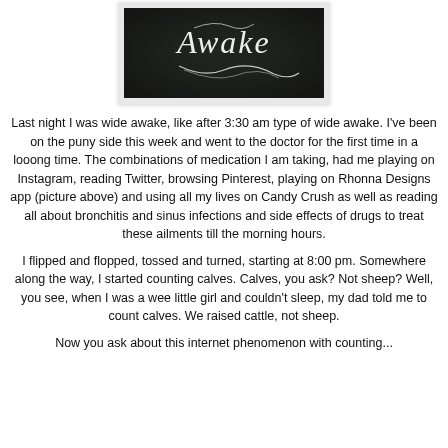[Figure (photo): A dark chalkboard with cursive white script lettering, partially visible, showing a stylized word (appears to be 'Awake' or similar) in decorative calligraphy.]
Last night I was wide awake, like after 3:30 am type of wide awake. I've been on the puny side this week and went to the doctor for the first time in a looong time. The combinations of medication I am taking, had me playing on Instagram, reading Twitter, browsing Pinterest, playing on Rhonna Designs app (picture above) and using all my lives on Candy Crush as well as reading all about bronchitis and sinus infections and side effects of drugs to treat these ailments till the morning hours.
I flipped and flopped, tossed and turned, starting at 8:00 pm. Somewhere along the way, I started counting calves. Calves, you ask? Not sheep? Well, you see, when I was a wee little girl and couldn't sleep, my dad told me to count calves. We raised cattle, not sheep.
Now you ask about this internet phenomenon with counting...